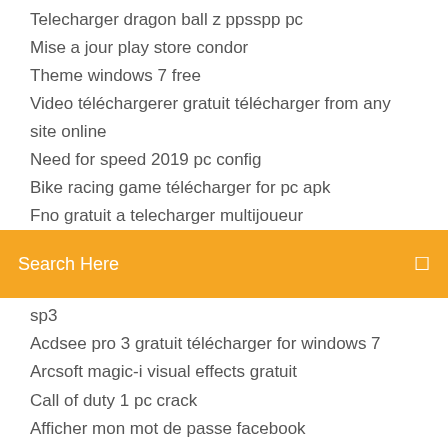Telecharger dragon ball z ppsspp pc
Mise a jour play store condor
Theme windows 7 free
Video téléchargerer gratuit télécharger from any site online
Need for speed 2019 pc config
Bike racing game télécharger for pc apk
Fno gratuit a telecharger multijoueur
[Figure (screenshot): Orange search bar with text 'Search Here' and a search icon on the right]
sp3
Acdsee pro 3 gratuit télécharger for windows 7
Arcsoft magic-i visual effects gratuit
Call of duty 1 pc crack
Afficher mon mot de passe facebook
Scratch 2 offline télécharger
Hp deskjet 1050a driver
Candy crush soda 414
Ipad 1 ios 7 custom firmware
Jeux de voiture gratuit 3d racing